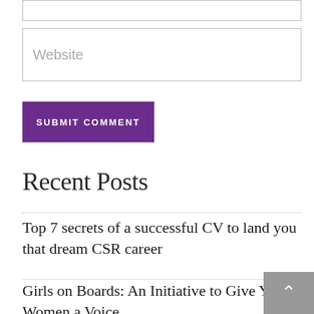[Figure (screenshot): Text input box (partially visible at top, cut off)]
[Figure (screenshot): Website text input field with placeholder text 'Website']
[Figure (screenshot): Purple 'SUBMIT COMMENT' button]
Recent Posts
Top 7 secrets of a successful CV to land you that dream CSR career
Girls on Boards: An Initiative to Give Young Women a Voice